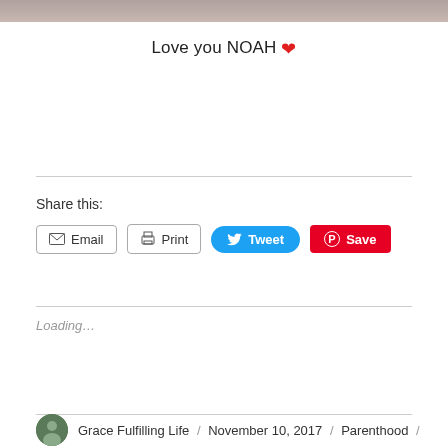[Figure (photo): Partial photo strip at top of page showing people]
Love you NOAH ❤
Share this:
Email  Print  Tweet  Save
Loading...
Grace Fulfilling Life / November 10, 2017 / Parenthood /
6 month old, 6 month old photoshoot, adventure,